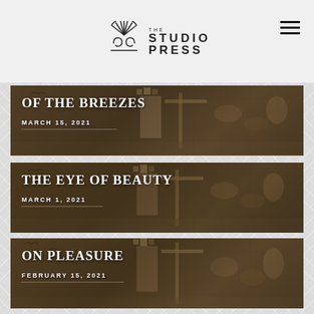THE STUDIO PRESS
[Figure (illustration): Mosaic artwork showing a figure with a harp and animals, with text overlay: OF THE BREEZES, MARCH 15, 2021]
OF THE BREEZES
MARCH 15, 2021
[Figure (illustration): Mosaic artwork showing a figure with a harp and animals, with text overlay: THE EYE OF BEAUTY, MARCH 1, 2021]
THE EYE OF BEAUTY
MARCH 1, 2021
[Figure (illustration): Mosaic artwork showing a figure with a harp and animals, with text overlay: ON PLEASURE, FEBRUARY 15, 2021]
ON PLEASURE
FEBRUARY 15, 2021